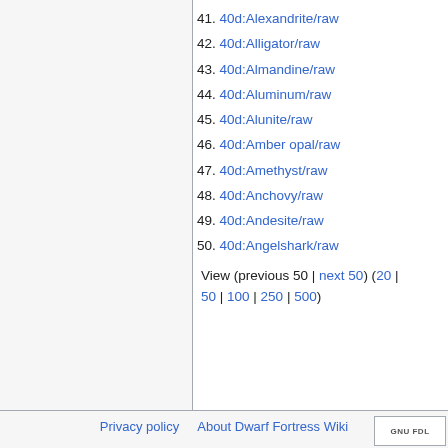41. 40d:Alexandrite/raw
42. 40d:Alligator/raw
43. 40d:Almandine/raw
44. 40d:Aluminum/raw
45. 40d:Alunite/raw
46. 40d:Amber opal/raw
47. 40d:Amethyst/raw
48. 40d:Anchovy/raw
49. 40d:Andesite/raw
50. 40d:Angelshark/raw
View (previous 50 | next 50) (20 | 50 | 100 | 250 | 500)
Privacy policy   About Dwarf Fortress Wiki